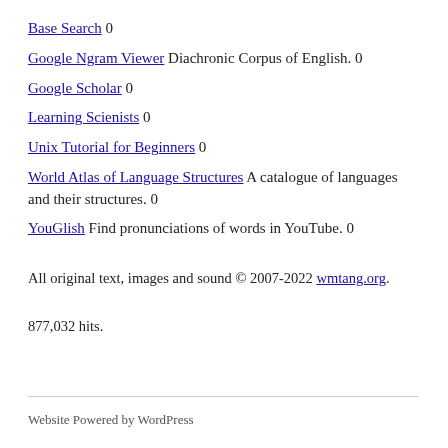Base Search 0
Google Ngram Viewer Diachronic Corpus of English. 0
Google Scholar 0
Learning Scienists 0
Unix Tutorial for Beginners 0
World Atlas of Language Structures A catalogue of languages and their structures. 0
YouGlish Find pronunciations of words in YouTube. 0
All original text, images and sound © 2007-2022 wmtang.org.
877,032 hits.
Website Powered by WordPress